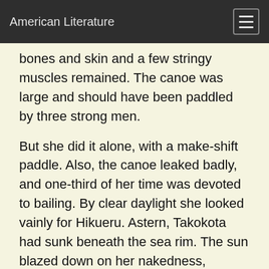American Literature
bones and skin and a few stringy muscles remained. The canoe was large and should have been paddled by three strong men.
But she did it alone, with a make-shift paddle. Also, the canoe leaked badly, and one-third of her time was devoted to bailing. By clear daylight she looked vainly for Hikueru. Astern, Takokota had sunk beneath the sea rim. The sun blazed down on her nakedness, compelling her body to surrender its moisture. Two tins of salmon were left, and in the course of the day she battered holes in them and drained the liquid. She had no time to waste in extracting the meat. A current was setting to the